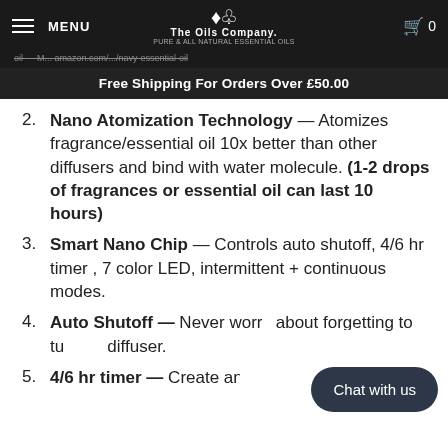MENU | The Oils Company. | 0
oil — M... amazon.com/...navy-essential-oil
Free Shipping For Orders Over £50.00
Nano Atomization Technology — Atomizes fragrance/essential oil 10x better than other diffusers and bind with water molecule. (1-2 drops of fragrances or essential oil can last 10 hours)
Smart Nano Chip — Controls auto shutoff, 4/6 hr timer , 7 color LED, intermittent + continuous modes.
Auto Shutoff — Never worry about forgetting to turn off diffuser.
4/6 hr timer — Create an